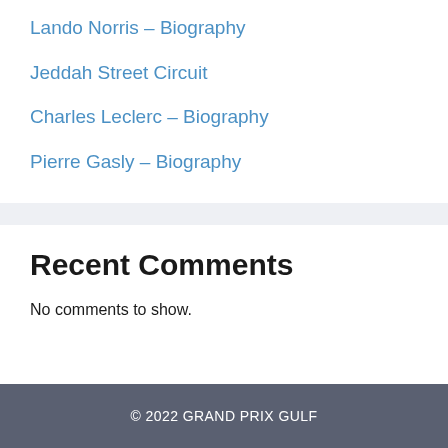Lando Norris – Biography
Jeddah Street Circuit
Charles Leclerc – Biography
Pierre Gasly – Biography
Recent Comments
No comments to show.
© 2022 GRAND PRIX GULF